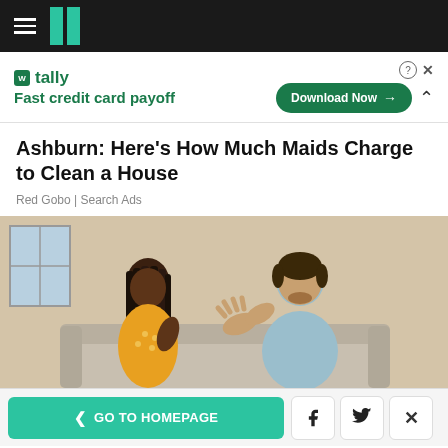HuffPost navigation bar with hamburger menu and logo
[Figure (screenshot): Tally app advertisement banner: 'Fast credit card payoff' with Download Now button]
Ashburn: Here's How Much Maids Charge to Clean a House
Red Gobo | Search Ads
[Figure (photo): A couple sitting on a couch having an argument. A Black woman in a yellow polka-dot shirt and a man in a light blue shirt are facing each other gesturing.]
< GO TO HOMEPAGE | Facebook | Twitter | X (close)